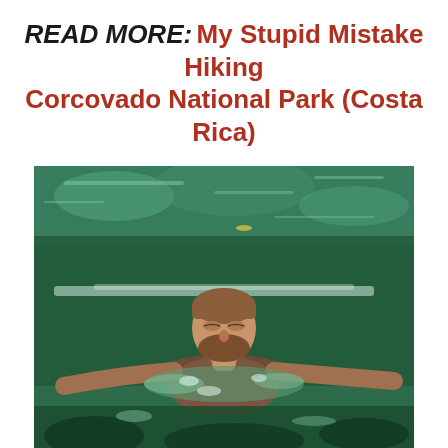READ MORE: My Stupid Mistake Hiking Corcovado National Park (Costa Rica)
[Figure (photo): A bearded man swimming in green, clear water at El Ojo de Agua, with his arms spread wide and head above water, surrounded by turquoise-green water.]
El Ojo de Agua photo by Emma Gallagher